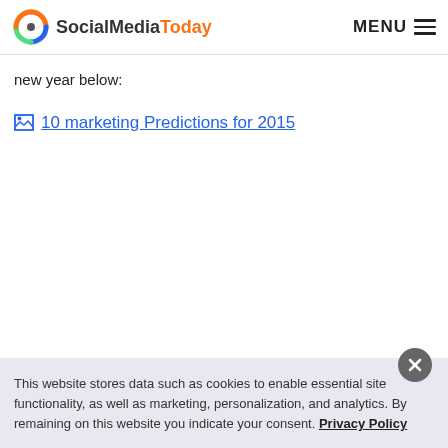SocialMediaToday | MENU
new year below:
[Figure (other): Broken image link labeled '10 marketing Predictions for 2015']
This website stores data such as cookies to enable essential site functionality, as well as marketing, personalization, and analytics. By remaining on this website you indicate your consent. Privacy Policy